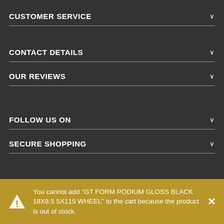CUSTOMER SERVICE
CONTACT DETAILS
OUR REVIEWS
FOLLOW US ON
SECURE SHOPPING
You cannot add "GT FORM PODIUM GLOSS BLACK 18X8.5 5X115 WHEEL" to the cart because the product is out of stock.